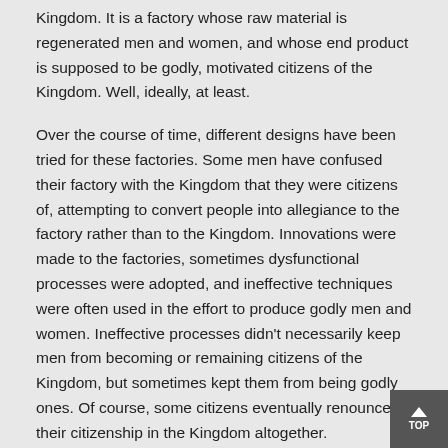Kingdom. It is a factory whose raw material is regenerated men and women, and whose end product is supposed to be godly, motivated citizens of the Kingdom. Well, ideally, at least.
Over the course of time, different designs have been tried for these factories. Some men have confused their factory with the Kingdom that they were citizens of, attempting to convert people into allegiance to the factory rather than to the Kingdom. Innovations were made to the factories, sometimes dysfunctional processes were adopted, and ineffective techniques were often used in the effort to produce godly men and women. Ineffective processes didn't necessarily keep men from becoming or remaining citizens of the Kingdom, but sometimes kept them from being godly ones. Of course, some citizens eventually renounced their citizenship in the Kingdom altogether.
Results from various experiments in factory designs varied as widely as the techniques tried. Some innovations that were not contrary to the divine record were effective at producing godly saints, and some factory operators that chose not to use certain manufacturing processes were also effective at producing God-fearing citizens. Unfortunately, the